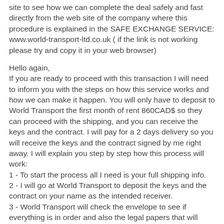site to see how we can complete the deal safely and fast directly from the web site of the company where this procedure is explained in the SAFE EXCHANGE SERVICE: www.world-transport-ltd.co.uk ( if the link is not working please try and copy it in your web browser)
Hello again,
If you are ready to proceed with this transaction I will need to inform you with the steps on how this service works and how we can make it happen. You will only have to deposit to World Transport the first month of rent 860CAD$ so they can proceed with the shipping, and you can receive the keys and the contract. I will pay for a 2 days delivery so you will receive the keys and the contract signed by me right away. I will explain you step by step how this process will work:
1 - To start the process all I need is your full shipping info.
2 - I will go at World Transport to deposit the keys and the contract on your name as the intended receiver.
3 - World Transport will check the envelope to see if everything is in order and also the legal papers that will come along with the keys and proof of ownership.
4 - World Transport will send you a delivery notification to let you know they have the keys and the papers in their custody